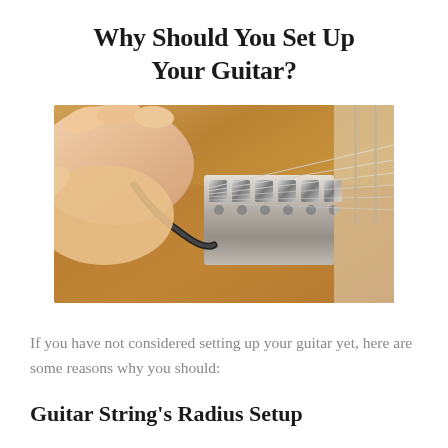Why Should You Set Up Your Guitar?
[Figure (photo): Close-up photo of hands adjusting guitar bridge/saddle hardware, showing tremolo bridge system on an electric guitar body]
If you have not considered setting up your guitar yet, here are some reasons why you should:
Guitar String's Radius Setup